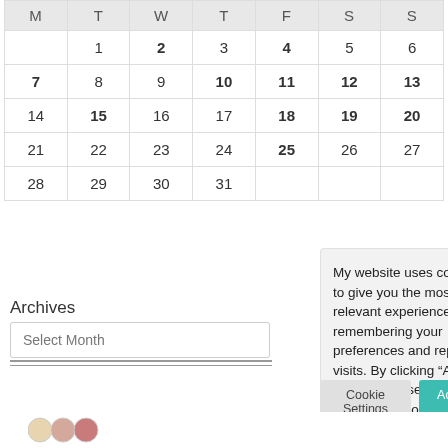| M | T | W | T | F | S | S |
| --- | --- | --- | --- | --- | --- | --- |
|  | 1 | 2 | 3 | 4 | 5 | 6 |
| 7 | 8 | 9 | 10 | 11 | 12 | 13 |
| 14 | 15 | 16 | 17 | 18 | 19 | 20 |
| 21 | 22 | 23 | 24 | 25 | 26 | 27 |
| 28 | 29 | 30 | 31 |  |  |  |
Archives
Select Month
My website uses cookies to give you the most relevant experience by remembering your preferences and repeat visits. By clicking “Accept All”, you consent to the use of ALL the cookies. However, you may visit "Cookie Settings" to provide a controlled consent.
Cookie Settings
Accept All
[Figure (photo): Small circular avatar icons at the bottom of the page]